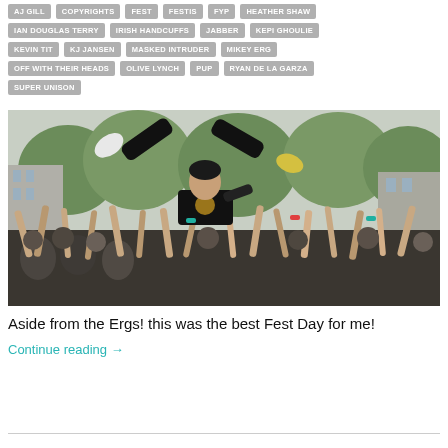AJ GILL
COPYRIGHTS
FEST
FESTIS
FYP
HEATHER SHAW
IAN DOUGLAS TERRY
IRISH HANDCUFFS
JABBER
KEPI GHOULIE
KEVIN TIT
KJ JANSEN
MASKED INTRUDER
MIKEY ERG
OFF WITH THEIR HEADS
OLIVE LYNCH
PUP
RYAN DE LA GARZA
SUPER UNISON
[Figure (photo): Crowd surfing at a punk/indie music festival outdoor show. A performer in black clothes is being held up by a crowd of people with raised hands. Trees and buildings visible in background.]
Aside from the Ergs! this was the best Fest Day for me!
Continue reading →